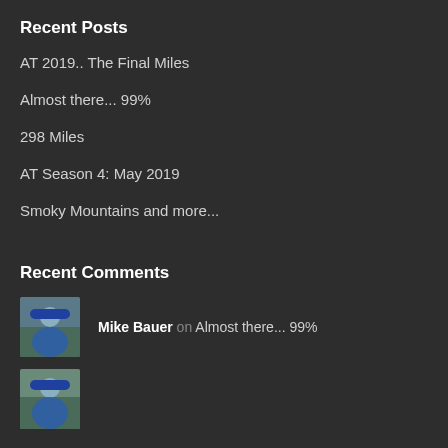Recent Posts
AT 2019.. The Final Miles
Almost there... 99%
298 Miles
AT Season 4: May 2019
Smoky Mountains and more...
Recent Comments
Mike Bauer on Almost there... 99%
[Figure (photo): Avatar photo of a person in blue hiking gear outdoors]
[Figure (photo): Second avatar photo of a person in blue hiking gear outdoors]